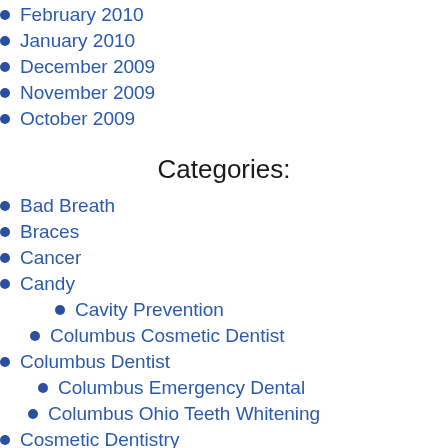February 2010
January 2010
December 2009
November 2009
October 2009
Categories:
Bad Breath
Braces
Cancer
Candy
Cavity Prevention
Columbus Cosmetic Dentist
Columbus Dentist
Columbus Emergency Dental
Columbus Ohio Teeth Whitening
Cosmetic Dentistry
Dental Advances
Dental Benefits
Dental Care
Dental Facts
Dental Fillings